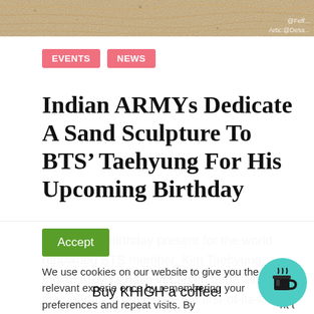[Figure (photo): Top banner showing a sandy beach/texture surface with watermark text in top-right corner.]
EVENTS
NEWS
Indian ARMYs Dedicate A Sand Sculpture To BTS’ Taehyung For His Upcoming Birthday
As an early birthday present for the world-renowned BTS member, Kim Taehyung, Indian ARMYs have yet again gone all out in their efforts to effectuate the first-of-its-kind
Accept
We use cookies on our website to give you the most relevant experience by remembering your preferences and repeat visits. By clicking “Accept”, you consent to the use of ALL the c
Buy KHIGH a coffee!